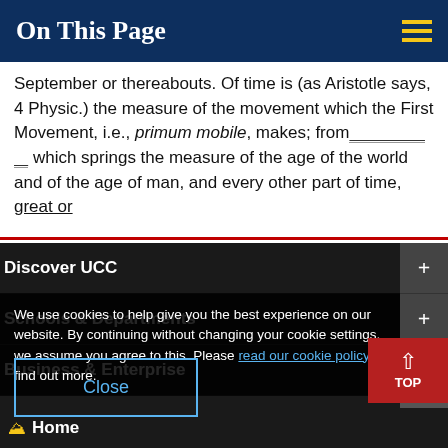On This Page
September or thereabouts. Of time is (as Aristotle says, 4 Physic.) the measure of the movement which the First Movement, i.e., primum mobile, makes; from which springs the measure of the age of the world and of the age of man, and every other part of time, great or
Discover UCC
Schools & Departments
We use cookies to help give you the best experience on our website. By continuing without changing your cookie settings, we assume you agree to this. Please read our cookie policy to find out more.
Business & Enterprise
Alumni & Development
Close
Home